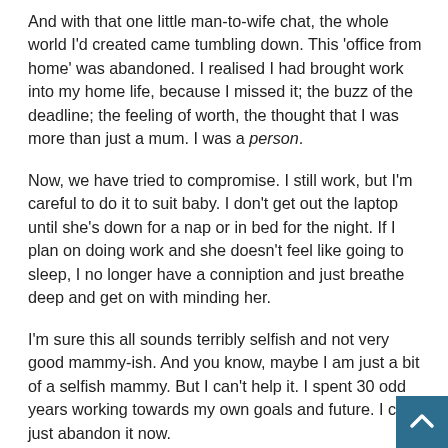And with that one little man-to-wife chat, the whole world I'd created came tumbling down. This 'office from home' was abandoned. I realised I had brought work into my home life, because I missed it; the buzz of the deadline; the feeling of worth, the thought that I was more than just a mum. I was a person.
Now, we have tried to compromise. I still work, but I'm careful to do it to suit baby. I don't get out the laptop until she's down for a nap or in bed for the night. If I plan on doing work and she doesn't feel like going to sleep, I no longer have a conniption and just breathe deep and get on with minding her.
I'm sure this all sounds terribly selfish and not very good mammy-ish. And you know, maybe I am just a bit of a selfish mammy. But I can't help it. I spent 30 odd years working towards my own goals and future. I can't just abandon it now.
And I think about my own little girl's future. I plan on teaching her everything I valued along the way. Education. Personal grow… Hard work. Commitment. Would I want her to throw all her hard …